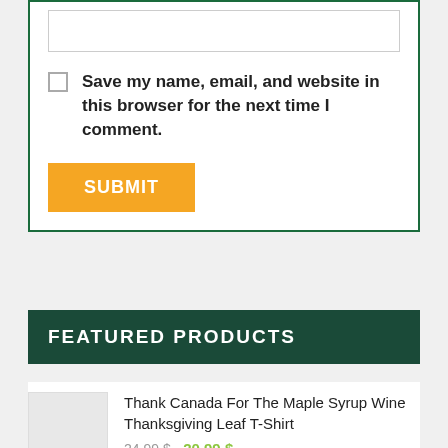Save my name, email, and website in this browser for the next time I comment.
SUBMIT
FEATURED PRODUCTS
Thank Canada For The Maple Syrup Wine Thanksgiving Leaf T-Shirt
24.99 $  20.99 $